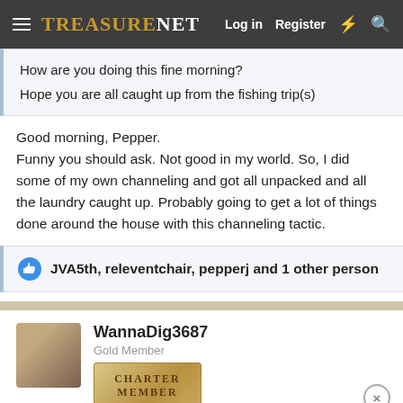TreasureNet — Log in  Register
How are you doing this fine morning?
Hope you are all caught up from the fishing trip(s)
Good morning, Pepper.
Funny you should ask. Not good in my world. So, I did some of my own channeling and got all unpacked and all the laundry caught up. Probably going to get a lot of things done around the house with this channeling tactic.
JVA5th, releventchair, pepperj and 1 other person
WannaDig3687
Gold Member